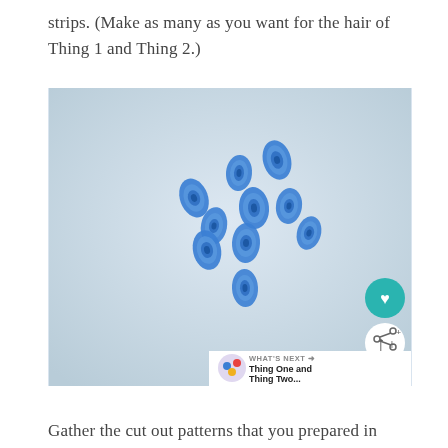strips. (Make as many as you want for the hair of Thing 1 and Thing 2.)
[Figure (photo): A photograph of ten blue quilled paper teardrop shapes arranged loosely in a cluster on a light blue-gray background. The shapes are rolled paper coils pinched into teardrop forms.]
Gather the cut out patterns that you prepared in